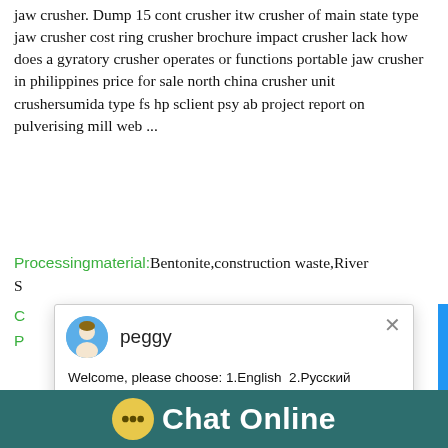jaw crusher. Dump 15 cont crusher itw crusher of main state type jaw crusher cost ring crusher brochure impact crusher lack how does a gyratory crusher operates or functions portable jaw crusher in philippines price for sale north china crusher unit crushersumida type fs hp sclient psy ab project report on pulverising mill web ...
Processingmaterial: Bentonite,construction waste,River S...
[Figure (screenshot): Live chat popup window with agent named 'peggy', displaying welcome message with language options: 1.English 2.Русский 3.Français 4.Español 5.bahasa Indonesia 6.عربي, with a close (X) button]
[Figure (photo): Industrial crusher machinery photo with blue side panel, badge showing number 1, and 'Click me to chat>>' button]
Chat Online